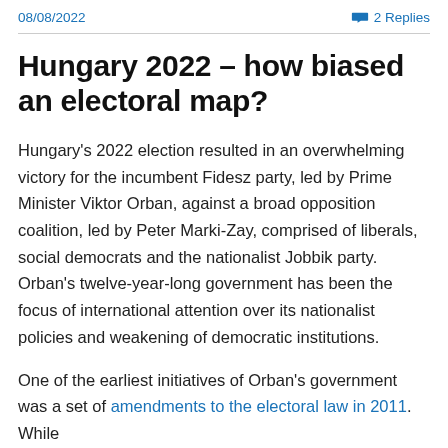08/08/2022   2 Replies
Hungary 2022 – how biased an electoral map?
Hungary's 2022 election resulted in an overwhelming victory for the incumbent Fidesz party, led by Prime Minister Viktor Orban, against a broad opposition coalition, led by Peter Marki-Zay, comprised of liberals, social democrats and the nationalist Jobbik party. Orban's twelve-year-long government has been the focus of international attention over its nationalist policies and weakening of democratic institutions.
One of the earliest initiatives of Orban's government was a set of amendments to the electoral law in 2011. While